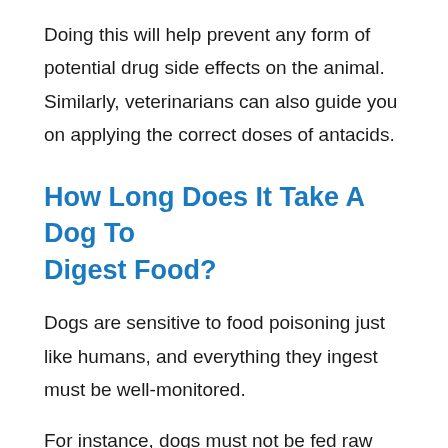Doing this will help prevent any form of potential drug side effects on the animal. Similarly, veterinarians can also guide you on applying the correct doses of antacids.
How Long Does It Take A Dog To Digest Food?
Dogs are sensitive to food poisoning just like humans, and everything they ingest must be well-monitored.
For instance, dogs must not be fed raw meat